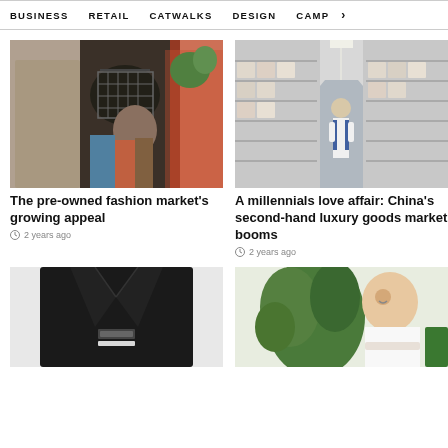BUSINESS   RETAIL   CATWALKS   DESIGN   CAMP >
[Figure (photo): Fashion editorial photo: woman holding black macramé/net bag overhead, wearing colorful patterned outfit, another person in trench coat beside her]
The pre-owned fashion market's growing appeal
2 years ago
[Figure (photo): Person standing in a warehouse aisle surrounded by tall shelving units filled with cardboard boxes and items]
A millennials love affair: China's second-hand luxury goods market booms
2 years ago
[Figure (photo): Close-up of a dark black blazer/jacket laid flat showing collar and label]
[Figure (photo): Smiling Asian woman in white top with green plants in background, appears to be in a shop or office]